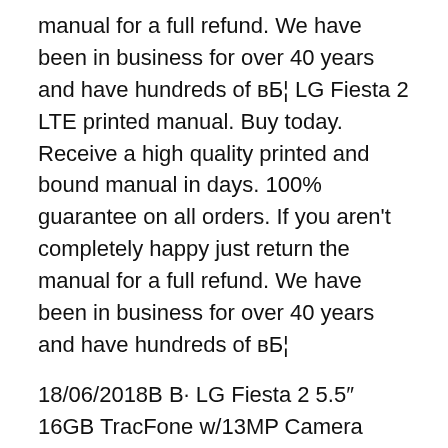manual for a full refund. We have been in business for over 40 years and have hundreds of вБ¦ LG Fiesta 2 LTE printed manual. Buy today. Receive a high quality printed and bound manual in days. 100% guarantee on all orders. If you aren't completely happy just return the manual for a full refund. We have been in business for over 40 years and have hundreds of вБ¦
18/06/2018В В· LG Fiesta 2 5.5″ 16GB TracFone w/13MP Camera 1500 Minutes/Texts/Data Life is a party and you need a phone that can keep up. Enter the LG Fiesta 2. Frame your favorite memories on the large LG Fiesta 2 LTE printed manual. Buy today. Receive a high quality printed and bound manual in days. 100%